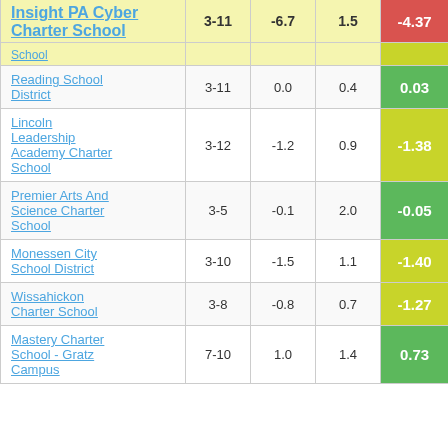| School/District | Grades | Col3 | Col4 | Score |
| --- | --- | --- | --- | --- |
| Insight PA Cyber Charter School | 3-11 | -6.7 | 1.5 | -4.37 |
| (School - partial) |  |  |  |  |
| Reading School District | 3-11 | 0.0 | 0.4 | 0.03 |
| Lincoln Leadership Academy Charter School | 3-12 | -1.2 | 0.9 | -1.38 |
| Premier Arts And Science Charter School | 3-5 | -0.1 | 2.0 | -0.05 |
| Monessen City School District | 3-10 | -1.5 | 1.1 | -1.40 |
| Wissahickon Charter School | 3-8 | -0.8 | 0.7 | -1.27 |
| Mastery Charter School - Gratz Campus | 7-10 | 1.0 | 1.4 | 0.73 |